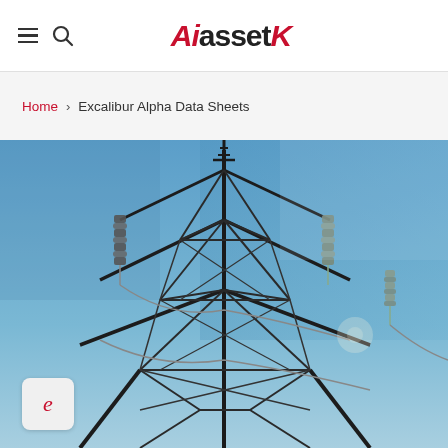AiassetX — navigation header with hamburger menu and search icon
Home > Excalibur Alpha Data Sheets
[Figure (photo): Close-up photograph of a high-voltage electrical transmission tower (pylon) with insulators and cables against a blue sky. An avatar badge with the letter 'e' in italic red appears in the lower-left corner of the image.]